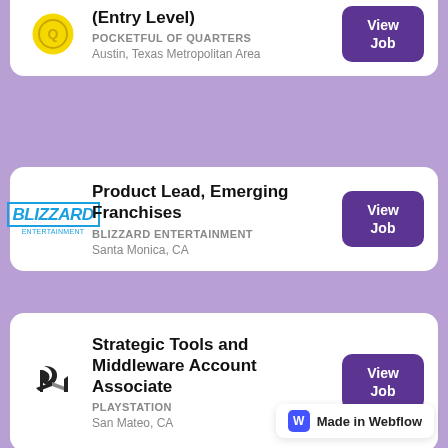(Entry Level) | POCKETFUL OF QUARTERS | Austin, Texas Metropolitan Area
Product Lead, Emerging Franchises | BLIZZARD ENTERTAINMENT | Santa Monica, CA
Strategic Tools and Middleware Account Associate | PLAYSTATION | San Mateo, CA
Professional Language Lead, German | BLIZZARD ENTERTAINMENT | Santa Monica, CA